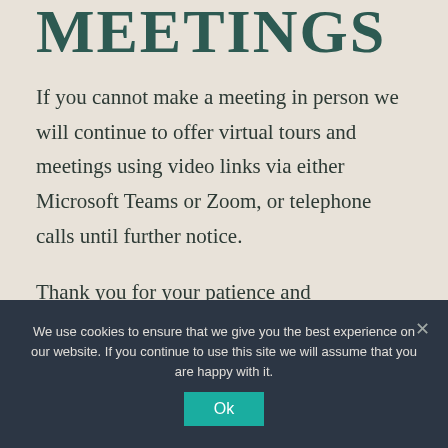MEETINGS
If you cannot make a meeting in person we will continue to offer virtual tours and meetings using video links via either Microsoft Teams or Zoom, or telephone calls until further notice.
Thank you for your patience and understanding
We use cookies to ensure that we give you the best experience on our website. If you continue to use this site we will assume that you are happy with it.